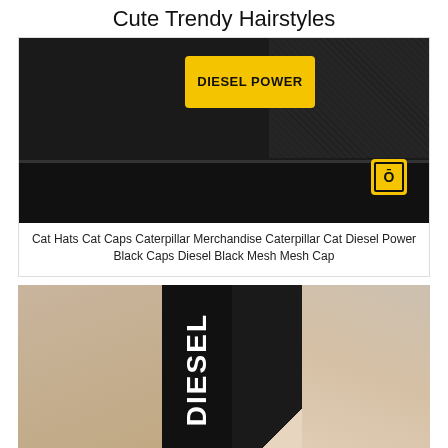Cute Trendy Hairstyles
[Figure (photo): Close-up of a black Caterpillar trucker cap with a yellow DIESEL POWER patch on the front and a small CAT logo patch on the mesh side panel]
Cat Hats Cat Caps Caterpillar Merchandise Caterpillar Cat Diesel Power Black Caps Diesel Black Mesh Mesh Cap
[Figure (photo): Close-up of a black strap or band with white DIESEL text printed vertically, against a skin-toned background suggesting it is worn around a neck or body]